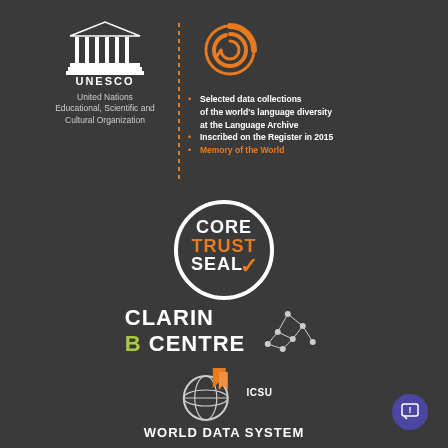[Figure (logo): UNESCO logo (temple/columns icon) with text 'United Nations Educational, Scientific and Cultural Organization']
[Figure (logo): Orange spiral/swirl logo representing the Language Archive]
Selected data collections of the world's language diversity at the Language Archive
Inscribed on the Register in 2015
Memory of the World
[Figure (logo): CoreTrustSeal certification logo — white circle with text CORE TRUST SEAL and checkmark]
[Figure (logo): CLARIN B CENTRE logo with network/constellation graphic]
[Figure (logo): ICSU World Data System logo with globe and orange bookmark icon]